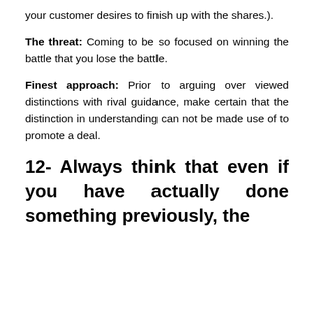your customer desires to finish up with the shares.).
The threat: Coming to be so focused on winning the battle that you lose the battle.
Finest approach: Prior to arguing over viewed distinctions with rival guidance, make certain that the distinction in understanding can not be made use of to promote a deal.
12- Always think that even if you have actually done something previously, the